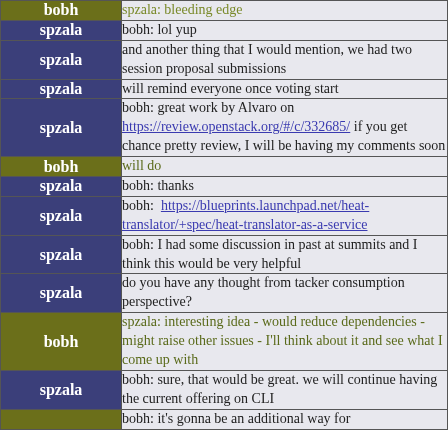| Speaker | Message |
| --- | --- |
| bobh | spzala: bleeding edge |
| spzala | bobh: lol yup |
| spzala | and another thing that I would mention, we had two session proposal submissions |
| spzala | will remind everyone once voting start |
| spzala | bobh: great work by Alvaro on https://review.openstack.org/#/c/332685/ if you get chance pretty review, I will be having my comments soon |
| bobh | will do |
| spzala | bobh: thanks |
| spzala | bobh: https://blueprints.launchpad.net/heat-translator/+spec/heat-translator-as-a-service |
| spzala | bobh: I had some discussion in past at summits and I think this would be very helpful |
| spzala | do you have any thought from tacker consumption perspective? |
| bobh | spzala: interesting idea - would reduce dependencies - might raise other issues - I'll think about it and see what I come up with |
| spzala | bobh: sure, that would be great. we will continue having the current offering on CLI |
| bobh | bobh: it's gonna be an additional way for |